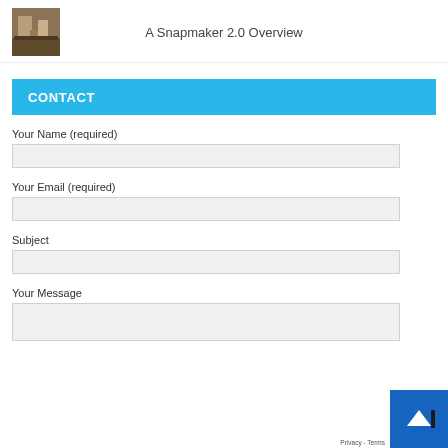A Snapmaker 2.0 Overview
CONTACT
Your Name (required)
Your Email (required)
Subject
Your Message